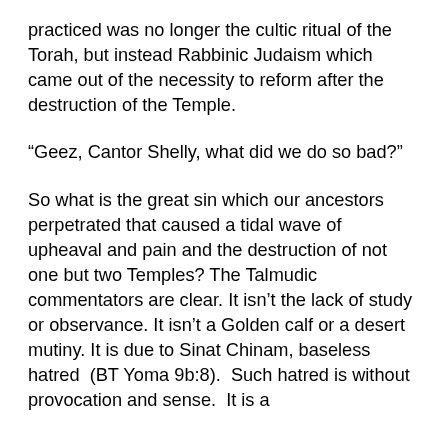practiced was no longer the cultic ritual of the Torah, but instead Rabbinic Judaism which came out of the necessity to reform after the destruction of the Temple.
“Geez, Cantor Shelly, what did we do so bad?”
So what is the great sin which our ancestors perpetrated that caused a tidal wave of upheaval and pain and the destruction of not one but two Temples? The Talmudic commentators are clear. It isn’t the lack of study or observance. It isn’t a Golden calf or a desert mutiny. It is due to Sinat Chinam, baseless hatred  (BT Yoma 9b:8).  Such hatred is without provocation and sense.  It is a